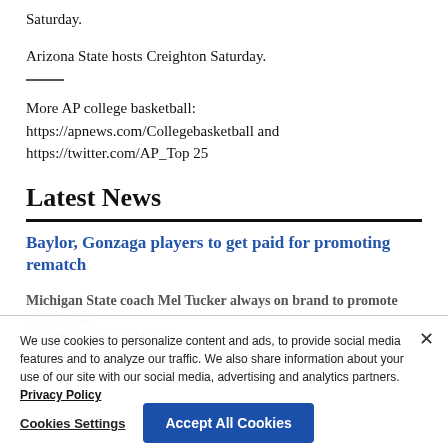Saturday.
Arizona State hosts Creighton Saturday.
More AP college basketball: https://apnews.com/Collegebasketball and https://twitter.com/AP_Top 25
Latest News
Baylor, Gonzaga players to get paid for promoting rematch
Michigan State coach Mel Tucker always on brand to promote
By Larry Lage
Aug. 24, 2022 04:52 PM EDT
We use cookies to personalize content and ads, to provide social media features and to analyze our traffic. We also share information about your use of our site with our social media, advertising and analytics partners. Privacy Policy
Cookies Settings
Accept All Cookies